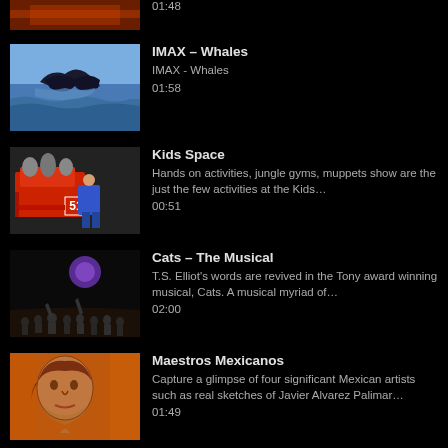01:48 (partial item cropped at top)
IMAX – Whales
IMAX - Whales
01:58
Kids Space
Hands on activities, jungle gyms, muppets show are the just the few activities at the Kids…
00:51
Cats – The Musical
T.S. Elliot's words are revived in the Tony award winning musical, Cats. A musical myriad of…
02:00
Maestros Mexicanos
Capture a glimpse of four significant Mexican artists such as real sketches of Javier Alvarez Palimar…
01:49